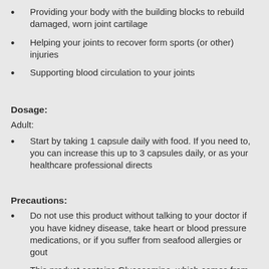Providing your body with the building blocks to rebuild damaged, worn joint cartilage
Helping your joints to recover form sports (or other) injuries
Supporting blood circulation to your joints
Dosage:
Adult:
Start by taking 1 capsule daily with food. If you need to, you can increase this up to 3 capsules daily, or as your healthcare professional directs
Precautions:
Do not use this product without talking to your doctor if you have kidney disease, take heart or blood pressure medications, or if you suffer from seafood allergies or gout
This product contains Glucosamine, which comes from shellfish
Only take this product as directed on the pack, or as your healthcare professional directs. Taking excessive doses of Glucosamine may give you indigestion
This product is not suitable for children under the age of 12-